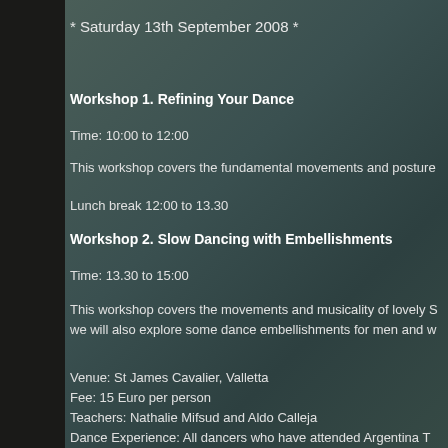* Saturday 13th September 2008 *
Workshop 1. Refining Your Dance
Time: 10:00 to 12:00
This workshop covers the fundamental movements and posture
Lunch break 12:00 to 13.30
Workshop 2. Slow Dancing with Embellishments
Time: 13.30 to 15:00
This workshop covers the movements and musicality of lovely S... we will also explore some dance embellishments for men and w...
Venue: St James Cavalier, Valletta
Fee: 15 Euro per person
Teachers: Nathalie Mifsud and Aldo Calleja
Dance Experience: All dancers who have attended Argentina T...